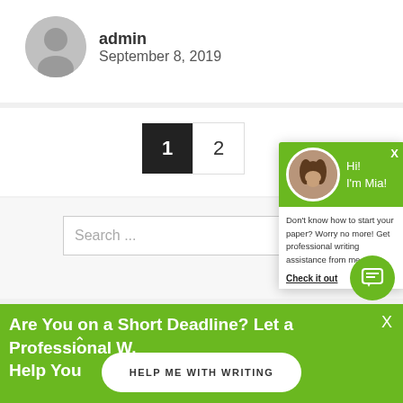admin
September 8, 2019
1  2
Search ...
[Figure (screenshot): Chat popup with green header showing 'Hi! I'm Mia!' with a circular avatar photo of a woman with long dark hair, a close X button, body text 'Don't know how to start your paper? Worry no more! Get professional writing assistance from me.' and a bold underlined 'Check it out' link. A green chat bubble icon button appears at bottom right.]
Are You on a Short Deadline? Let a Professional W. Help You
HELP ME WITH WRITING